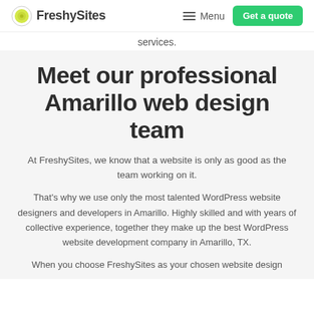FreshySites — Menu | Get a quote
services.
Meet our professional Amarillo web design team
At FreshySites, we know that a website is only as good as the team working on it.
That's why we use only the most talented WordPress website designers and developers in Amarillo. Highly skilled and with years of collective experience, together they make up the best WordPress website development company in Amarillo, TX.
When you choose FreshySites as your chosen website design